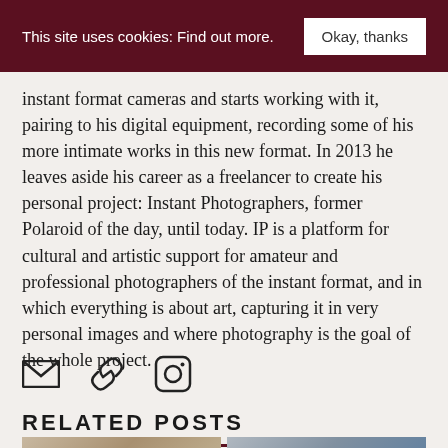This site uses cookies: Find out more.   [Okay, thanks]
instant format cameras and starts working with it, pairing to his digital equipment, recording some of his more intimate works in this new format. In 2013 he leaves aside his career as a freelancer to create his personal project: Instant Photographers, former Polaroid of the day, until today. IP is a platform for cultural and artistic support for amateur and professional photographers of the instant format, and in which everything is about art, capturing it in very personal images and where photography is the goal of the whole project.
[Figure (infographic): Three social media icons: email envelope, chain link, and Instagram camera icon]
RELATED POSTS
[Figure (photo): Two partial thumbnail images side by side at bottom of page: left shows hands, right shows a mountain landscape]